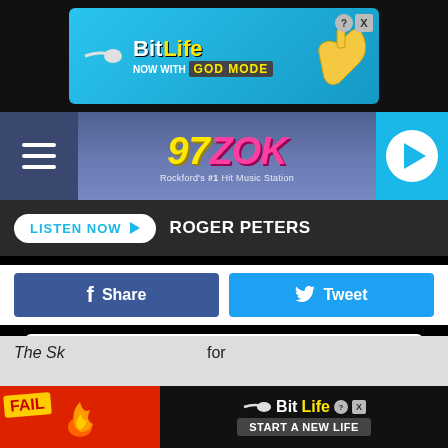[Figure (screenshot): BitLife ad banner - 'BitLife NOW WITH GOD MODE' advertisement with blue background and cartoon hand pointing]
[Figure (logo): 97 ZOK radio station logo - purple/blue gradient nav bar with yellow '97' and pink 'ZOK' logo, hamburger menu left, play button right]
LISTEN NOW ▶  ROGER PETERS
f  Share    🐦  Tweet
DOWNLOAD THE 97 ZOK MOBILE APP
GET OUR FREE MOBILE APP
Also listen on:  amazon alexa
The Sk...  for the silo...  or
[Figure (screenshot): BitLife 'FAIL - START A NEW LIFE' advertisement banner at bottom]